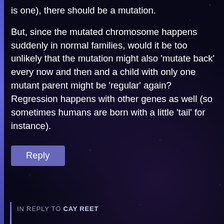is one), there should be a mutation.

But, since the mutated chromosome happens suddenly in normal families, would it be too unlikely that the mutation might also 'mutate back' every now and then and a child with only one mutant parent might be 'regular' again? Regression happens with other genes as well (so sometimes humans are born with a little 'tail' for instance).
Reply
IN REPLY TO CAY REET